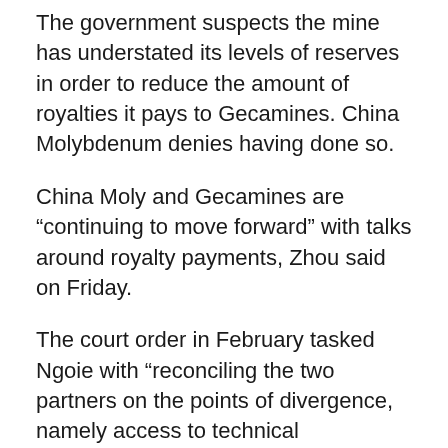The government suspects the mine has understated its levels of reserves in order to reduce the amount of royalties it pays to Gecamines. China Molybdenum denies having done so.
China Moly and Gecamines are “continuing to move forward” with talks around royalty payments, Zhou said on Friday.
The court order in February tasked Ngoie with “reconciling the two partners on the points of divergence, namely access to technical information.”
Congo is the world’s top producer of